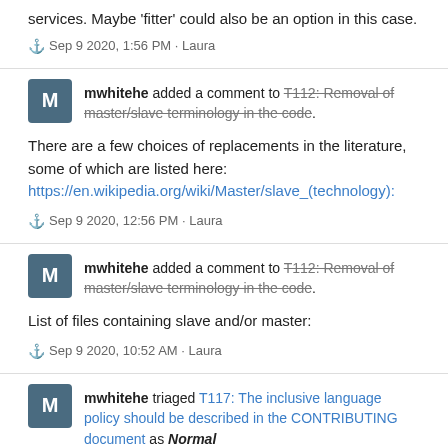services. Maybe 'fitter' could also be an option in this case.
Sep 9 2020, 1:56 PM · Laura
mwhitehe added a comment to T112: Removal of master/slave terminology in the code.
There are a few choices of replacements in the literature, some of which are listed here:
https://en.wikipedia.org/wiki/Master/slave_(technology):
Sep 9 2020, 12:56 PM · Laura
mwhitehe added a comment to T112: Removal of master/slave terminology in the code.
List of files containing slave and/or master:
Sep 9 2020, 10:52 AM · Laura
mwhitehe triaged T117: The inclusive language policy should be described in the CONTRIBUTING document as Normal priority.